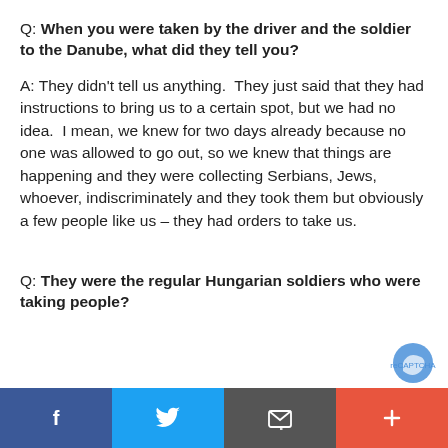Q: When you were taken by the driver and the soldier to the Danube, what did they tell you?
A: They didn't tell us anything.  They just said that they had instructions to bring us to a certain spot, but we had no idea.  I mean, we knew for two days already because no one was allowed to go out, so we knew that things are happening and they were collecting Serbians, Jews, whoever, indiscriminately and they took them but obviously a few people like us – they had orders to take us.
Q: They were the regular Hungarian soldiers who were taking people?